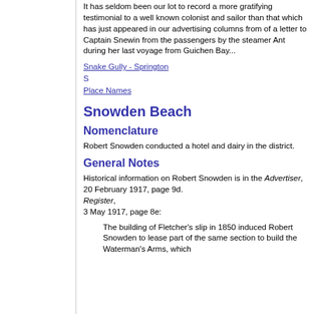It has seldom been our lot to record a more gratifying testimonial to a well known colonist and sailor than that which has just appeared in our advertising columns from of a letter to Captain Snewin from the passengers by the steamer Ant during her last voyage from Guichen Bay...
Snake Gully - Springton S Place Names
Snowden Beach
Nomenclature
Robert Snowden conducted a hotel and dairy in the district.
General Notes
Historical information on Robert Snowden is in the Advertiser, 20 February 1917, page 9d. Register, 3 May 1917, page 8e:
The building of Fletcher's slip in 1850 induced Robert Snowden to lease part of the same section to build the Waterman's Arms, which